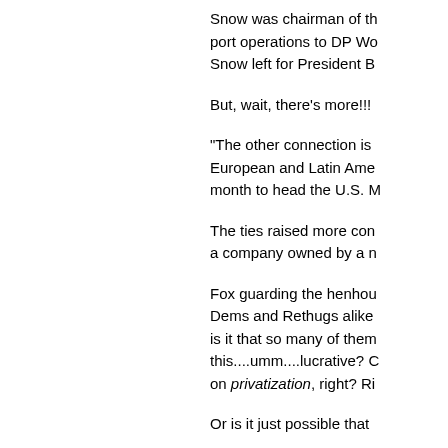Snow was chairman of th... port operations to DP Wo... Snow left for President B...
But, wait, there's more!!!
"The other connection is ... European and Latin Ame... month to head the U.S. M...
The ties raised more con... a company owned by a n...
Fox guarding the henhou... Dems and Rethugs alike... is it that so many of them... this....umm....lucrative? C... on privatization, right? Ri...
Or is it just possible that...